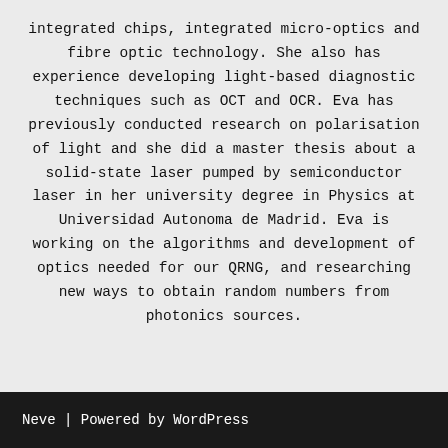integrated chips, integrated micro-optics and fibre optic technology. She also has experience developing light-based diagnostic techniques such as OCT and OCR. Eva has previously conducted research on polarisation of light and she did a master thesis about a solid-state laser pumped by semiconductor laser in her university degree in Physics at Universidad Autonoma de Madrid. Eva is working on the algorithms and development of optics needed for our QRNG, and researching new ways to obtain random numbers from photonics sources.
Neve | Powered by WordPress